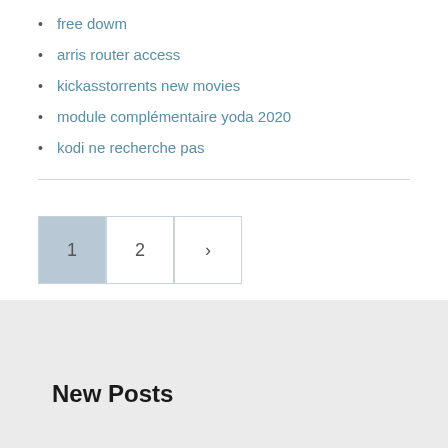free dowm
arris router access
kickasstorrents new movies
module complémentaire yoda 2020
kodi ne recherche pas
Pagination: 1 2 >
New Posts